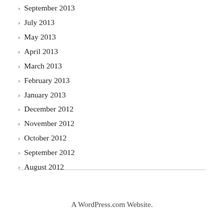September 2013
July 2013
May 2013
April 2013
March 2013
February 2013
January 2013
December 2012
November 2012
October 2012
September 2012
August 2012
A WordPress.com Website.